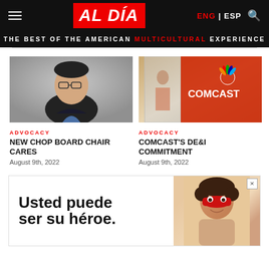AL DÍA — THE BEST OF THE AMERICAN MULTICULTURAL EXPERIENCE — ENG | ESP
[Figure (photo): Headshot of a smiling Asian man with glasses wearing a dark suit jacket]
ADVOCACY
NEW CHOP BOARD CHAIR CARES
August 9th, 2022
[Figure (photo): Comcast retail store interior with NBC peacock logo and COMCAST signage on glass door]
ADVOCACY
COMCAST'S DE&I COMMITMENT
August 9th, 2022
[Figure (illustration): Advertisement banner showing text 'Usted puede ser su héroe.' with an image of a child wearing a red superhero mask]